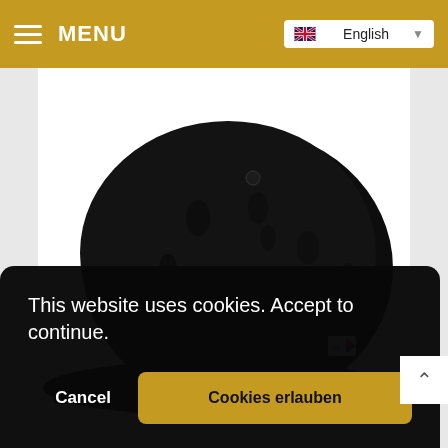≡ MENU | English
[Figure (photo): A black textured snapback cap with a pink New Era logo sticker on the brim and a small New Era flag logo on the side, shown on a white background.]
This website uses cookies. Accept to continue.
Cancel
Cookies erlauben